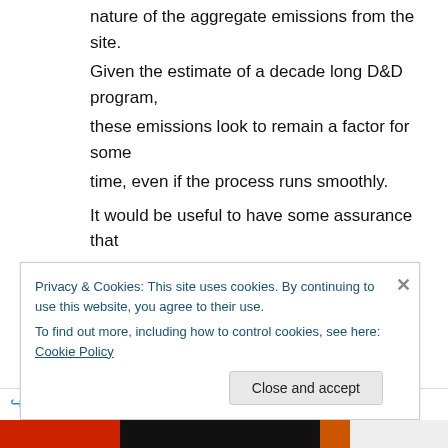nature of the aggregate emissions from the site. Given the estimate of a decade long D&D program, these emissions look to remain a factor for some time, even if the process runs smoothly. It would be useful to have some assurance that the more extreme projections of a large swath of cesium contamination are ill founded.
★ Like
↪ Reply
Privacy & Cookies: This site uses cookies. By continuing to use this website, you agree to their use. To find out more, including how to control cookies, see here: Cookie Policy
Close and accept